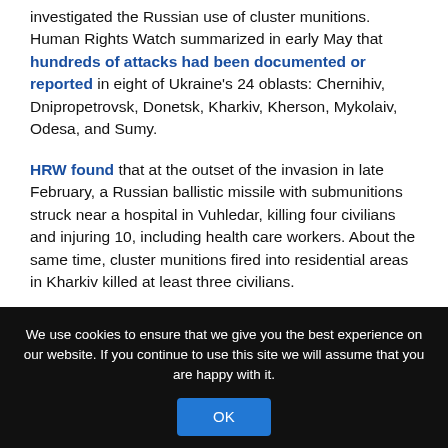investigated the Russian use of cluster munitions. Human Rights Watch summarized in early May that hundreds of attacks had been documented or reported in eight of Ukraine's 24 oblasts: Chernihiv, Dnipropetrovsk, Donetsk, Kharkiv, Kherson, Mykolaiv, Odesa, and Sumy.
HRW found that at the outset of the invasion in late February, a Russian ballistic missile with submunitions struck near a hospital in Vuhledar, killing four civilians and injuring 10, including health care workers. About the same time, cluster munitions fired into residential areas in Kharkiv killed at least three civilians.
We use cookies to ensure that we give you the best experience on our website. If you continue to use this site we will assume that you are happy with it.
OK